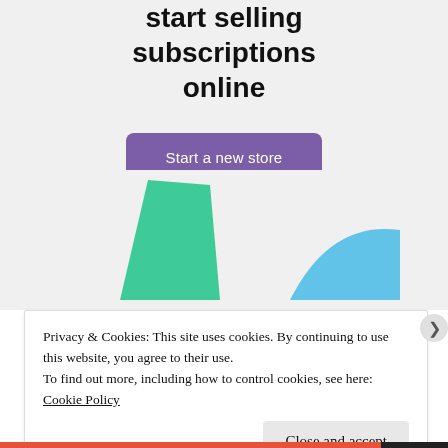start selling subscriptions online
[Figure (illustration): Purple rounded rectangle button labeled 'Start a new store' on a light gray background, with decorative green and blue abstract shapes below]
Privacy & Cookies: This site uses cookies. By continuing to use this website, you agree to their use.
To find out more, including how to control cookies, see here: Cookie Policy
Close and accept